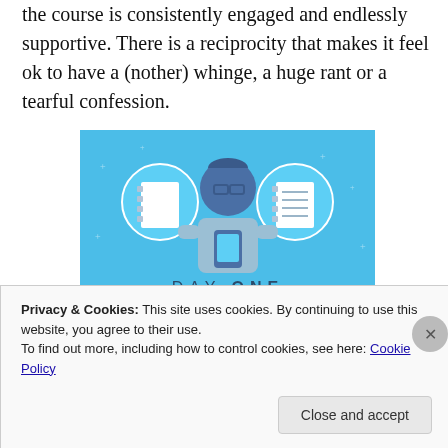the course is consistently engaged and endlessly supportive. There is a reciprocity that makes it feel ok to have a (nother) whinge, a huge rant or a tearful confession.
[Figure (illustration): Day One journaling app advertisement with blue background. Shows a cartoon person holding a phone, flanked by two circular icons of notebooks/journals. Text reads 'DAY ONE' and 'The only journaling app you'll ever need.']
Privacy & Cookies: This site uses cookies. By continuing to use this website, you agree to their use.
To find out more, including how to control cookies, see here: Cookie Policy